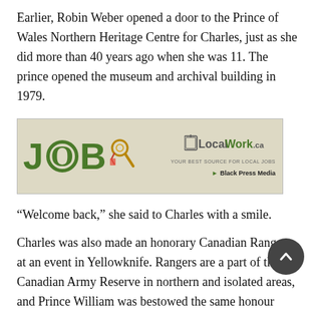Earlier, Robin Weber opened a door to the Prince of Wales Northern Heritage Centre for Charles, just as she did more than 40 years ago when she was 11. The prince opened the museum and archival building in 1979.
[Figure (other): Advertisement banner for LocalWork.ca job listings, featuring the word JOB with a magnifying glass graphic on a tan/khaki background, and the LocalWork.ca logo with Black Press Media branding on the right.]
“Welcome back,” she said to Charles with a smile.
Charles was also made an honorary Canadian Ranger at an event in Yellowknife. Rangers are a part of the Canadian Army Reserve in northern and isolated areas, and Prince William was bestowed the same honour during a previous visit.
The last royal visit to N.W.T. was in 2011, when William and Catherine, Duchess of Cambridge, were welcomed by large